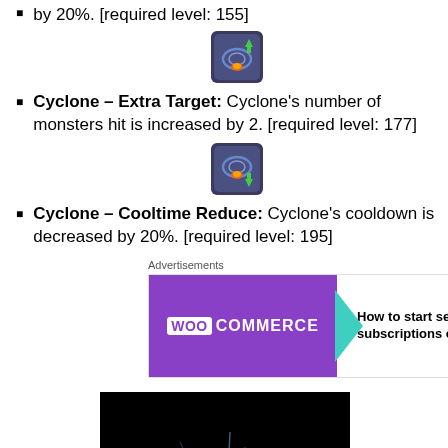by 20%. [required level: 155]
Cyclone – Extra Target: Cyclone's number of monsters hit is increased by 2. [required level: 177]
Cyclone – Cooltime Reduce: Cyclone's cooldown is decreased by 20%. [required level: 195]
[Figure (screenshot): WooCommerce advertisement: How to start selling subscriptions online]
[Figure (screenshot): Dark game screenshot showing light effects on black background]